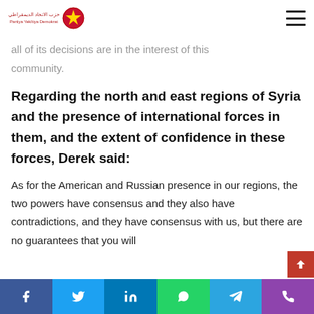Partiya Yekîtiya Demokrat (PYD) logo and navigation
all of its decisions are in the interest of this community.
Regarding the north and east regions of Syria and the presence of international forces in them, and the extent of confidence in these forces, Derek said:
As for the American and Russian presence in our regions, the two powers have consensus and they also have contradictions, and they have consensus with us, but there are no guarantees that you will
Social share bar: Facebook, Twitter, LinkedIn, WhatsApp, Telegram, Phone